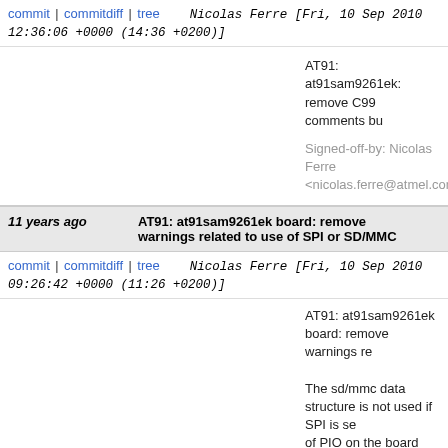commit | commitdiff | tree   Nicolas Ferre [Fri, 10 Sep 2010 12:36:06 +0000 (14:36 +0200)]
AT91: at91sam9261ek: remove C99 comments bu

Signed-off-by: Nicolas Ferre <nicolas.ferre@atmel.com>
11 years ago   AT91: at91sam9261ek board: remove warnings related to use of SPI or SD/MMC
commit | commitdiff | tree   Nicolas Ferre [Fri, 10 Sep 2010 09:26:42 +0000 (11:26 +0200)]
AT91: at91sam9261ek board: remove warnings re

The sd/mmc data structure is not used if SPI is se of PIO on the board prevent from using both interf (board dependent).
Remove the warnings at compilation time adding a

Signed-off-by: Nicolas Ferre <nicolas.ferre@atmel.com>
11 years ago   AT91: dm9000 initialization update
commit | commitdiff | tree   Nicolas Ferre [Fri, 10 Sep 2010 09:38:43 +0000 (11:38 +0200)]
AT91: dm9000 initialization update